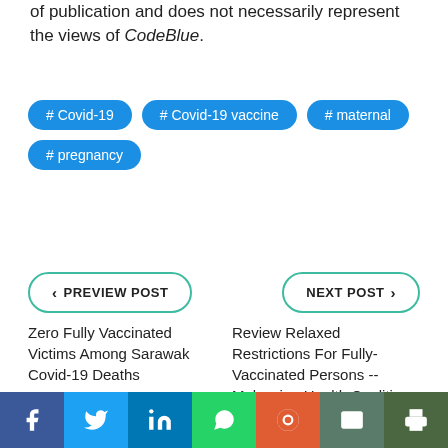of publication and does not necessarily represent the views of CodeBlue.
# Covid-19
# Covid-19 vaccine
# maternal
# pregnancy
< PREVIEW POST
NEXT POST >
Zero Fully Vaccinated Victims Among Sarawak Covid-19 Deaths
Review Relaxed Restrictions For Fully-Vaccinated Persons -- Malaysian Health Coalition
f  [Twitter]  in  [WhatsApp]  [Reddit]  [Email]  [Print]